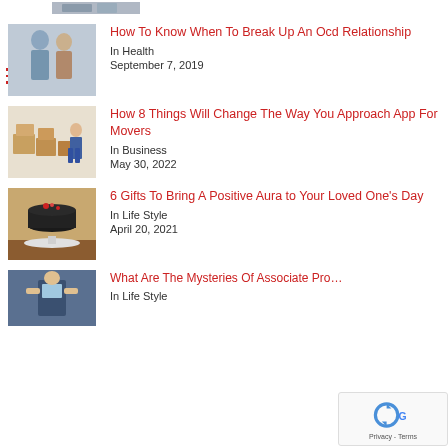[Figure (photo): Partial top thumbnail of a photo (cropped)]
How To Know When To Break Up An Ocd Relationship
In Health
September 7, 2019
[Figure (photo): Man in blue coveralls standing next to stacked cardboard moving boxes]
How 8 Things Will Change The Way You Approach App For Movers
In Business
May 30, 2022
[Figure (photo): Dark chocolate cake on a white stand with berries and flowers]
6 Gifts To Bring A Positive Aura to Your Loved One's Day
In Life Style
April 20, 2021
[Figure (photo): Person photographing with a smartphone]
What Are The Mysteries Of Associate Pro…
In Life Style